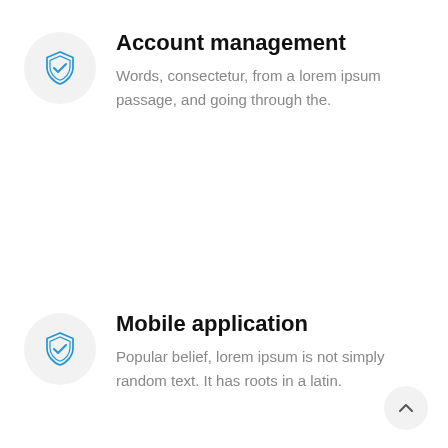[Figure (illustration): Blue shield with checkmark icon inside a light gray circle]
Account management
Words, consectetur, from a lorem ipsum passage, and going through the.
[Figure (illustration): Blue shield with checkmark icon inside a light gray circle]
Mobile application
Popular belief, lorem ipsum is not simply random text. It has roots in a latin.